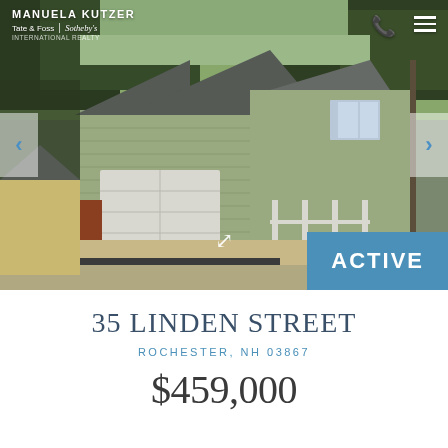[Figure (photo): Exterior photo of a two-story colonial-style house with gray siding, attached garage, front porch, and gravel/asphalt driveway. Trees visible in background. Agent branding overlay shows MANUELA KUTZER / Tate & Foss | Sotheby's International Realty. Navigation arrows on sides. ACTIVE status badge in bottom-right corner.]
35 LINDEN STREET
ROCHESTER, NH 03867
$459,000